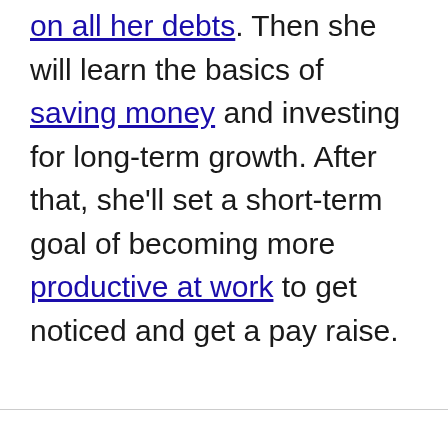on all her debts. Then she will learn the basics of saving money and investing for long-term growth. After that, she'll set a short-term goal of becoming more productive at work to get noticed and get a pay raise.